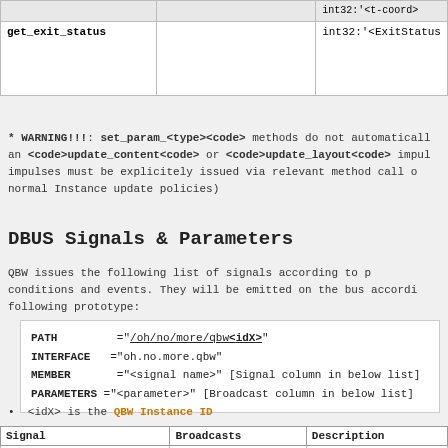|  |  |  |
| --- | --- | --- |
|  |  | int32:'<t-coord> |
| get_exit_status |  | int32:'<ExitStatus |
* WARNING!!!: set_param_<type><code> methods do not automaticall an <code>update_content<code> or <code>update_layout<code> impul impulses must be explicitely issued via relevant method call o normal Instance update policies)
DBUS Signals & Parameters
QBW issues the following list of signals according to p conditions and events. They will be emitted on the bus accordi following prototype:
PATH        ="/oh/no/more/qbw<idX>"
INTERFACE   ="oh.no.more.qbw"
MEMBER      ="<signal name>" [Signal column in below list]
PARAMETERS  ="<parameter>" [Broadcast column in below list]
<idX> is the QBW Instance ID
| Signal | Broadcasts | Description |
| --- | --- | --- |
| <code>int32:'<ExitCode>' | int32:'<ExitCode>' | Issued when QBW Insta <idX> executes and re and exit status |